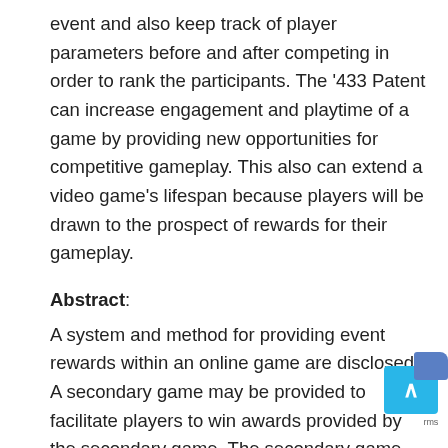event and also keep track of player parameters before and after competing in order to rank the participants. The '433 Patent can increase engagement and playtime of a game by providing new opportunities for competitive gameplay. This also can extend a video game's lifespan because players will be drawn to the prospect of rewards for their gameplay.
Abstract:
A system and method for providing event rewards within an online game are disclosed. A secondary game may be provided to facilitate players to win awards provided by the secondary game. The secondary game may be exclusive to